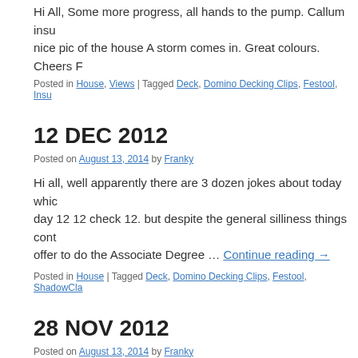Hi All, Some more progress, all hands to the pump. Callum insu... nice pic of the house A storm comes in. Great colours. Cheers F...
Posted in House, Views | Tagged Deck, Domino Decking Clips, Festool, Insu...
12 DEC 2012
Posted on August 13, 2014 by Franky
Hi all, well apparently there are 3 dozen jokes about today whic... day 12 12 check 12. but despite the general silliness things contu... offer to do the Associate Degree … Continue reading →
Posted in House | Tagged Deck, Domino Decking Clips, Festool, ShadowCla...
28 NOV 2012
Posted on August 13, 2014 by Franky
OiOi, Things are going on a pace now I am on leave and DOD i...